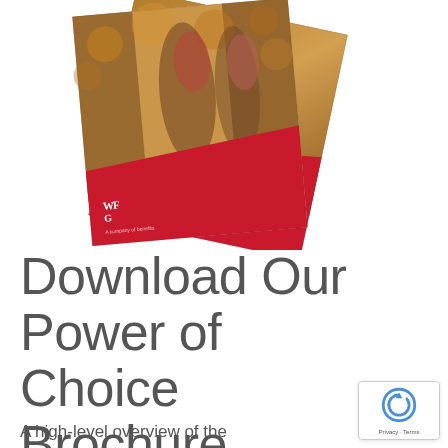[Figure (photo): Two brochure covers fanned out showing a woman carrying a child piggyback in an autumn outdoor setting. The brochures have a red diagonal banner at the bottom with a logo mark. One brochure is rotated slightly to the right, one slightly to the left.]
Download Our Power of Choice Brochure.
A high-level overview of the diversity of the products we